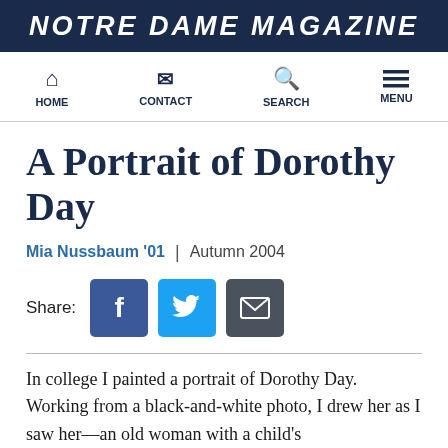NOTRE DAME MAGAZINE
HOME | CONTACT | SEARCH | MENU
A Portrait of Dorothy Day
Mia Nussbaum '01 | Autumn 2004
[Figure (other): Share buttons: Facebook, Twitter, Email]
In college I painted a portrait of Dorothy Day. Working from a black-and-white photo, I drew her as I saw her—an old woman with a child's